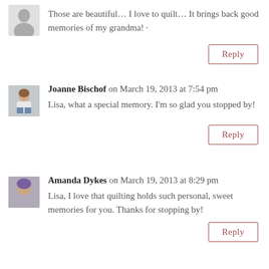Those are beautiful… I love to quilt… It brings back good memories of my grandma! ·
Reply
Joanne Bischof on March 19, 2013 at 7:54 pm
Lisa, what a special memory. I'm so glad you stopped by!
Reply
Amanda Dykes on March 19, 2013 at 8:29 pm
Lisa, I love that quilting holds such personal, sweet memories for you. Thanks for stopping by!
Reply